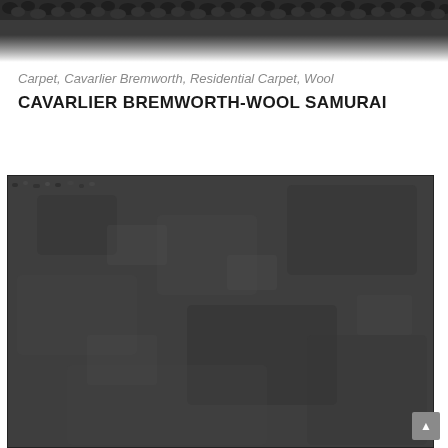[Figure (photo): Close-up top edge of dark charcoal/grey wool carpet texture, showing looped pile construction against white background]
Carpet, Cavarlier Bremworth, Residential Carpet, Wool
CAVARLIER BREMWORTH-WOOL SAMURAI
[Figure (photo): Large close-up swatch of dark charcoal grey wool carpet (Cavarlier Bremworth Wool Samurai), showing textured looped pile surface from above]